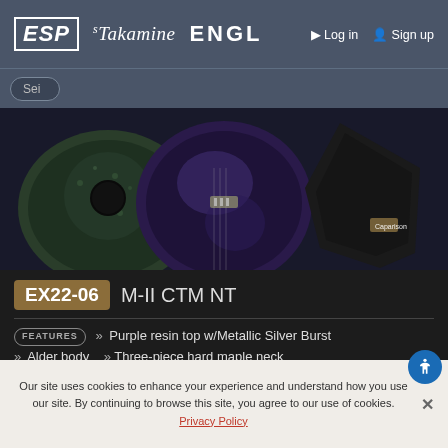ESP  Takamine  ENGL
Search  Log in  Sign up
[Figure (photo): Three electric guitars photographed from above against a dark background: a green speckled body, a purple metallic body, and a black angular body]
EX22-06  M-II CTM NT
Purple resin top w/Metallic Silver Burst
Alder body   Three-piece hard maple neck
Macassar ebony fingerboard w/double stripe inlay
Gotoh tuners, ESP FB20-6 bridge w/string-thru-body
Bare Knuckle Coldsweat pickups (neck/bridge) w/burnt chrome covers & ESP beveled pickup rings
Our site uses cookies to enhance your experience and understand how you use our site. By continuing to browse this site, you agree to our use of cookies. Privacy Policy